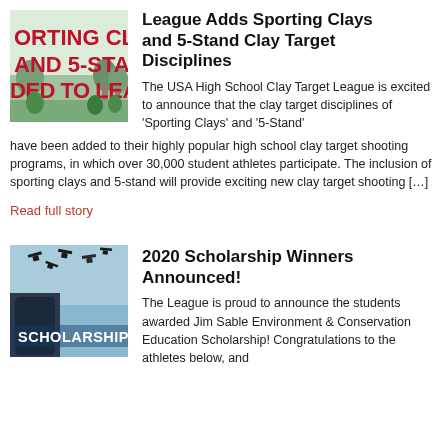[Figure (photo): Sporting Clays image with text 'ORTING CLA AND 5-STAN DED TO LEAG' in red on white/green background]
League Adds Sporting Clays and 5-Stand Clay Target Disciplines
The USA High School Clay Target League is excited to announce that the clay target disciplines of ‘Sporting Clays’ and ‘5-Stand’ have been added to their highly popular high school clay target shooting programs, in which over 30,000 student athletes participate. The inclusion of sporting clays and 5-stand will provide exciting new clay target shooting […]
Read full story
[Figure (photo): Scholarship image with graduates throwing caps, text 'SCHOLARSHIP' in white on blue/grey background]
2020 Scholarship Winners Announced!
The League is proud to announce the students awarded Jim Sable Environment & Conservation Education Scholarship! Congratulations to the athletes below, and